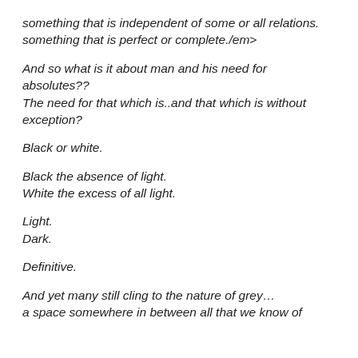something that is independent of some or all relations. something that is perfect or complete./em>
And so what is it about man and his need for absolutes?? The need for that which is..and that which is without exception?
Black or white.
Black the absence of light.
White the excess of all light.
Light.
Dark.
Definitive.
And yet many still cling to the nature of grey…
a space somewhere in between all that we know of